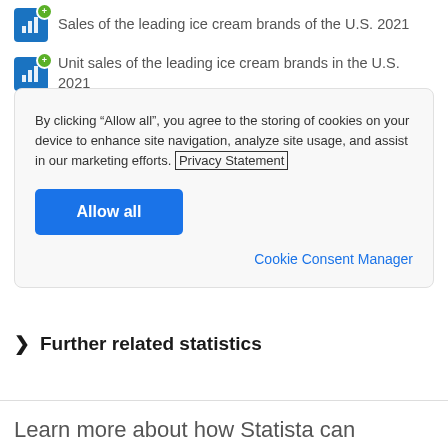Sales of the leading ice cream brands of the U.S. 2021
Unit sales of the leading ice cream brands in the U.S. 2021
By clicking “Allow all”, you agree to the storing of cookies on your device to enhance site navigation, analyze site usage, and assist in our marketing efforts. Privacy Statement
Allow all
Cookie Consent Manager
Further related statistics
Learn more about how Statista can support